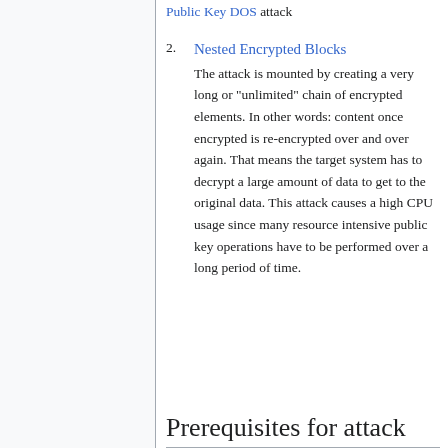Public Key DOS attack
2. Nested Encrypted Blocks
The attack is mounted by creating a very long or "unlimited" chain of encrypted elements. In other words: content once encrypted is re-encrypted over and over again. That means the target system has to decrypt a large amount of data to get to the original data. This attack causes a high CPU usage since many resource intensive public key operations have to be performed over a long period of time.
Prerequisites for attack